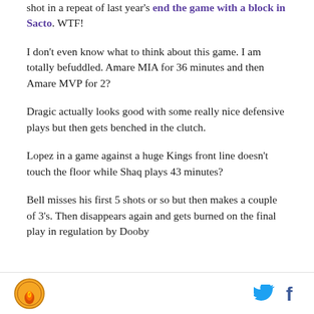shot in a repeat of last year's end the game with a block in Sacto. WTF!
I don't even know what to think about this game. I am totally befuddled. Amare MIA for 36 minutes and then Amare MVP for 2?
Dragic actually looks good with some really nice defensive plays but then gets benched in the clutch.
Lopez in a game against a huge Kings front line doesn't touch the floor while Shaq plays 43 minutes?
Bell misses his first 5 shots or so but then makes a couple of 3's. Then disappears again and gets burned on the final play in regulation by Dooby
Logo and social media icons